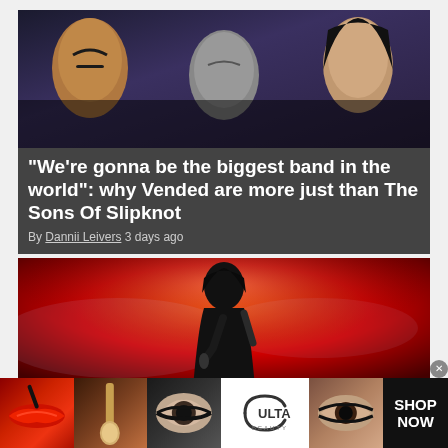[Figure (photo): Band photo showing members of Vended with dramatic makeup and expressions against a dark background]
“We’re gonna be the biggest band in the world”: why Vended are more just than The Sons Of Slipknot
By Dannii Leivers 3 days ago
[Figure (photo): Concert photo of Andy Biersack of Black Veil Brides performing on stage with red dramatic lighting]
Black Veil Brides' Andy Biersack calls out fans "spewing mean and hateful
[Figure (photo): Ulta Beauty advertisement banner showing makeup products including lips, brushes, eyes, and Ulta logo with SHOP NOW call to action]